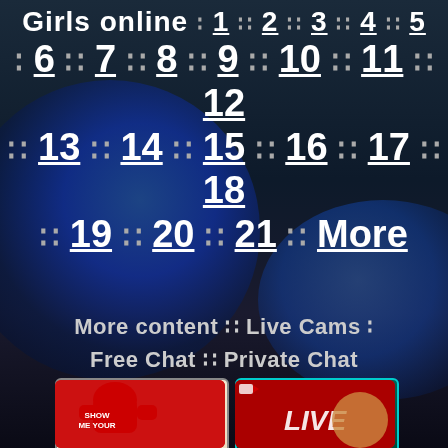[Figure (screenshot): Dark space/globe background with navigation links for Girls online numbered 1-21 and More, followed by content links and two advertisement banners at the bottom]
Girls online : 1 · 2 · 3 · 4 · 5
· 6 · 7 · 8 · 9 · 10 · 11 · 12
· 13 · 14 · 15 · 16 · 17 · 18
· 19 · 20 · 21 · More
More content · Live Cams ·
Free Chat · Private Chat